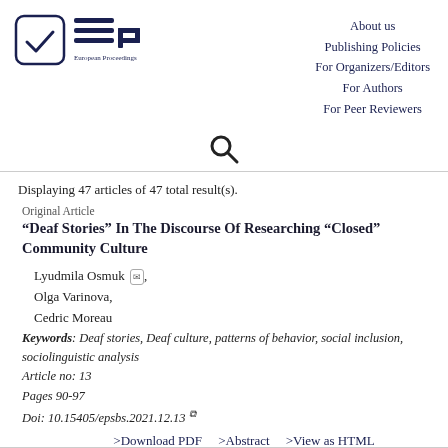[Figure (logo): European Proceedings logo with checkmark in rounded square and EP symbol with three horizontal lines]
About us
Publishing Policies
For Organizers/Editors
For Authors
For Peer Reviewers
[Figure (other): Search icon (magnifying glass)]
Displaying 47 articles of 47 total result(s).
Original Article
“Deaf Stories” In The Discourse Of Researching “Closed” Community Culture
Lyudmila Osmuk,
Olga Varinova,
Cedric Moreau
Keywords: Deaf stories, Deaf culture, patterns of behavior, social inclusion, sociolinguistic analysis
Article no: 13
Pages 90-97
Doi: 10.15405/epsbs.2021.12.13
>Download PDF   >Abstract   >View as HTML